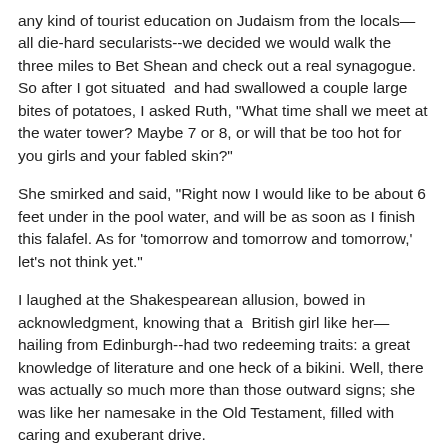any kind of tourist education on Judaism from the locals—all die-hard secularists--we decided we would walk the three miles to Bet Shean and check out a real synagogue. So after I got situated  and had swallowed a couple large bites of potatoes, I asked Ruth, "What time shall we meet at the water tower? Maybe 7 or 8, or will that be too hot for you girls and your fabled skin?"
She smirked and said, "Right now I would like to be about 6 feet under in the pool water, and will be as soon as I finish this falafel. As for 'tomorrow and tomorrow and tomorrow,' let's not think yet."
I laughed at the Shakespearean allusion, bowed in acknowledgment, knowing that a  British girl like her—hailing from Edinburgh--had two redeeming traits: a great knowledge of literature and one heck of a bikini. Well, there was actually so much more than those outward signs; she was like her namesake in the Old Testament, filled with caring and exuberant drive.
We joshed through the meal, then we and many others filled the pool and Ruth her bikini and me my desire. After the sun set, and the temp